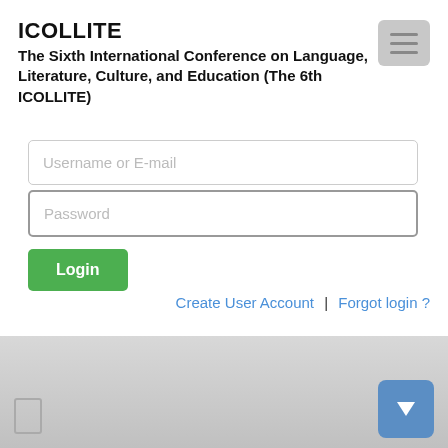ICOLLITE
The Sixth International Conference on Language, Literature, Culture, and Education (The 6th ICOLLITE)
[Figure (screenshot): Login form with Username or E-mail field, Password field, and green Login button]
Create User Account | Forgot login ?
[Figure (screenshot): Bottom grey section with scroll indicator and blue navigation button]